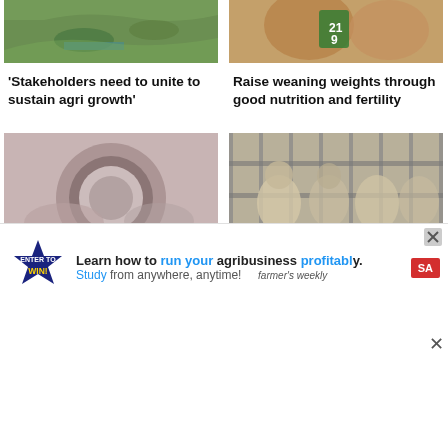[Figure (photo): Aerial view of farmland with green fields and water]
[Figure (photo): Close-up of cattle with ear tag numbered 219]
'Stakeholders need to unite to sustain agri growth'
Raise weaning weights through good nutrition and fertility
[Figure (photo): Round mechanical device or filter component on ground]
[Figure (photo): Cattle standing in barn stalls behind fence bars]
How to reduce automotive pollution
SA dog breeders warned about canine brucellosis
[Figure (infographic): Advertisement banner: Learn how to run your agribusiness profitably. Study from anywhere, anytime! Farmer's Weekly / SA logo]